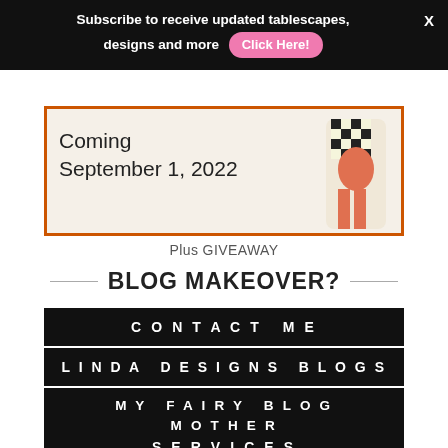Subscribe to receive updated tablescapes, designs and more  Click Here!
[Figure (photo): Banner image with text 'Coming September 1, 2022' on white background with orange border, and a decorative figurine in checkered pattern on the right side]
Plus GIVEAWAY
BLOG MAKEOVER?
CONTACT ME
LINDA DESIGNS BLOGS
MY FAIRY BLOG MOTHER
SERVICES